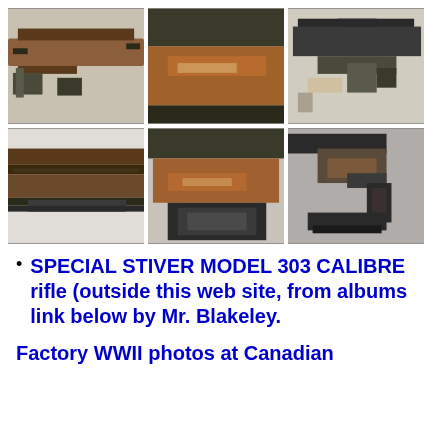[Figure (photo): Six photographs of a Special Stiver Model 303 Calibre rifle arranged in a 2-row by 3-column grid, showing various angles and parts of the rifle including the stock, barrel, action, and trigger assembly]
SPECIAL STIVER MODEL 303 CALIBRE rifle (outside this web site, from albums link below by Mr. Blakeley.
Factory WWII photos at Canadian